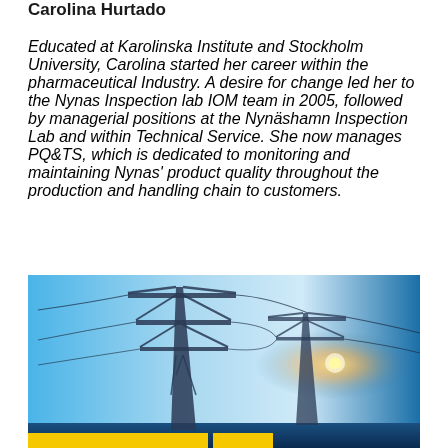Carolina Hurtado
Educated at Karolinska Institute and Stockholm University, Carolina started her career within the pharmaceutical Industry. A desire for change led her to the Nynas Inspection lab IOM team in 2005, followed by managerial positions at the Nynäshamn Inspection Lab and within Technical Service. She now manages PQ&TS, which is dedicated to monitoring and maintaining Nynas' product quality throughout the production and handling chain to customers.
[Figure (photo): Photograph of high-voltage electricity transmission towers/pylons silhouetted against a bright blue sky, with power lines stretching between them. A yellow banner is partially visible at the bottom of the image.]